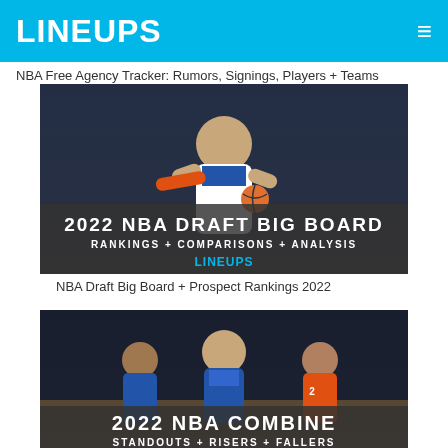LINEUPS
NBA Free Agency Tracker: Rumors, Signings, Players + Teams
[Figure (photo): Basketball player in Duke uniform driving with ball, overlaid with text: 2022 NBA DRAFT BIG BOARD / RANKINGS + COMPARISONS + ANALYSIS / LINEUPS logo]
NBA Draft Big Board + Prospect Rankings 2022
[Figure (photo): Basketball players on court, overlaid with text: 2022 NBA COMBINE / STANDOUTS + RISERS + FALLERS / LINEUPS logo]